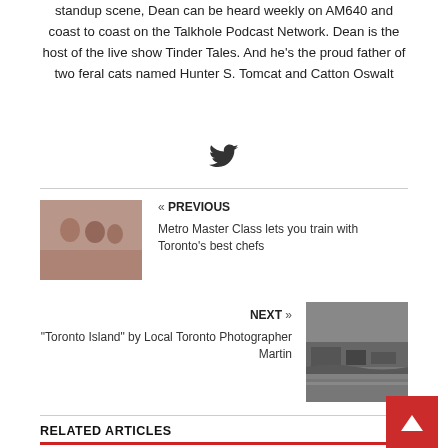standup scene, Dean can be heard weekly on AM640 and coast to coast on the Talkhole Podcast Network. Dean is the host of the live show Tinder Tales. And he's the proud father of two feral cats named Hunter S. Tomcat and Catton Oswalt
[Figure (logo): Twitter bird icon]
« PREVIOUS
Metro Master Class lets you train with Toronto's best chefs
[Figure (photo): Photo of women at a cooking/dining event]
NEXT »
"Toronto Island" by Local Toronto Photographer Martin
[Figure (photo): Black and white aerial photo of Toronto Island]
RELATED ARTICLES
42 MORE YEARS!
October 14, 2015   Dean Young
[Figure (photo): JFL42 event promotional image]